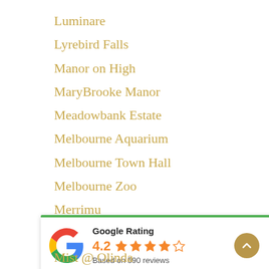Luminare
Lyrebird Falls
Manor on High
MaryBrooke Manor
Meadowbank Estate
Melbourne Aquarium
Melbourne Town Hall
Melbourne Zoo
Merrimu
[Figure (infographic): Google Rating widget showing 4.2 stars based on 590 reviews, with Google G logo and green top border]
Mist @ Olinda